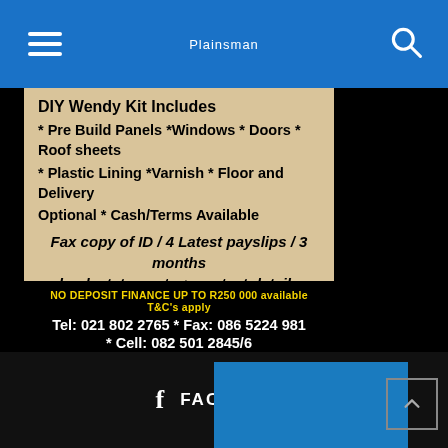Plainsman
DIY Wendy Kit Includes
* Pre Build Panels *Windows * Doors * Roof sheets
* Plastic Lining *Varnish * Floor and Delivery
Optional * Cash/Terms Available
Fax copy of ID / 4 Latest payslips / 3 months bank statements + contact details
NO DEPOSIT FINANCE UP TO R250 000 available T&C's apply
Tel: 021 802 2765 * Fax: 086 5224 981
* Cell: 082 501 2845/6
*SPECIAL RATES TO MONTHLY EMPLOYEES*
www.imvusatimber.co.za
FACEBOOK